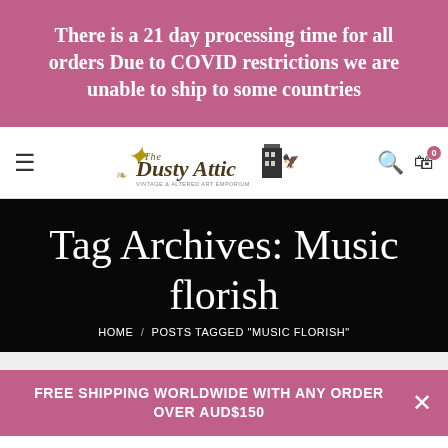There is a 21 day processing time for all orders Due to COVID restrictions we are unable to ship to some countries
[Figure (logo): The Dusty Attic store logo with decorative elements]
Tag Archives: Music florish
HOME / POSTS TAGGED "MUSIC FLORISH"
FREE SHIPPING WORLDWIDE WITH ANY ORDER OVER AUD$150